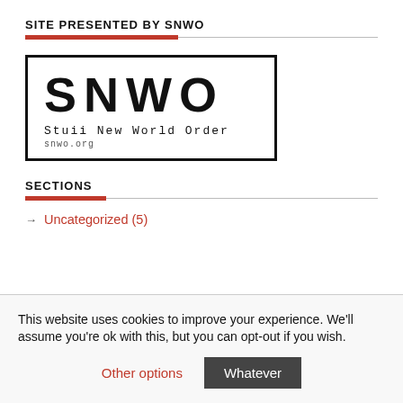SITE PRESENTED BY SNWO
[Figure (logo): SNWO logo with large bold letters 'SNWO', subtitle 'Stuii New World Order', and URL 'snwo.org' in a black bordered box]
SECTIONS
Uncategorized (5)
This website uses cookies to improve your experience. We'll assume you're ok with this, but you can opt-out if you wish.
Other options   Whatever